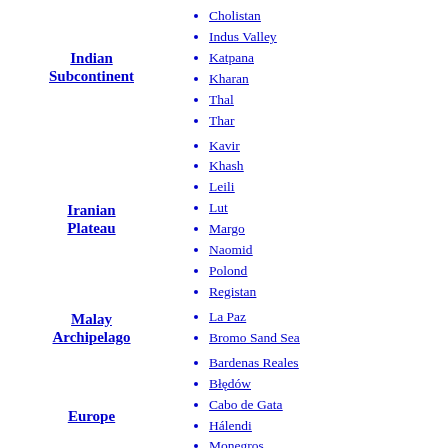Cholistan
Indus Valley
Katpana
Kharan
Thal
Thar
Indian Subcontinent
Kavir
Khash
Leili
Lut
Margo
Naomid
Polond
Registan
Iranian Plateau
La Paz
Bromo Sand Sea
Malay Archipelago
Bardenas Reales
Błędów
Cabo de Gata
Hálendi
Monegros
Tabernas
Europe